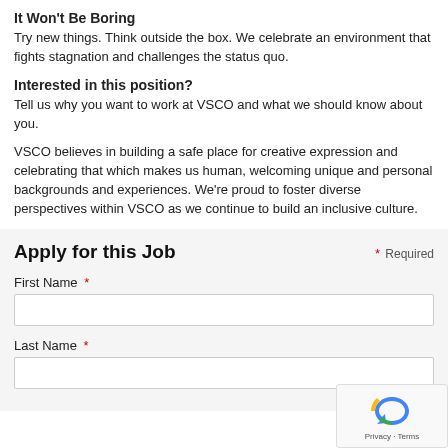It Won't Be Boring
Try new things. Think outside the box. We celebrate an environment that fights stagnation and challenges the status quo.
Interested in this position?
Tell us why you want to work at VSCO and what we should know about you.
VSCO believes in building a safe place for creative expression and celebrating that which makes us human, welcoming unique and personal backgrounds and experiences. We’re proud to foster diverse perspectives within VSCO as we continue to build an inclusive culture.
Apply for this Job
First Name *
Last Name *